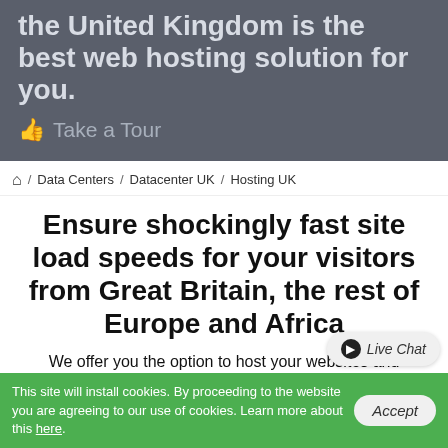the United Kingdom is the best web hosting solution for you.
Take a Tour
/ Data Centers / Datacenter UK / Hosting UK
Ensure shockingly fast site load speeds for your visitors from Great Britain, the rest of Europe and Africa
We offer you the option to host your websites and applications in a next–generation datacenter near London, UK. This location will make your European–oriented sites open much
This site will install cookies. By proceeding to the website you are agreeing to our use of cookies. Learn more about this here.
Accept